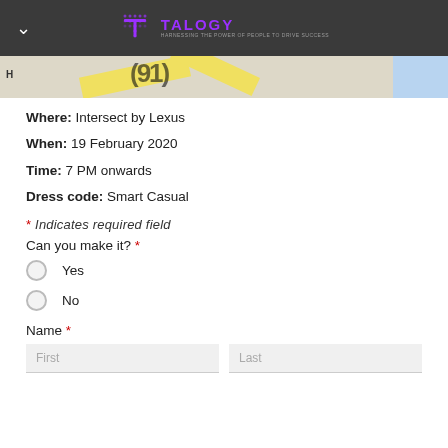TALOGY
[Figure (map): Partial map strip showing roads and a blue water area]
Where: Intersect by Lexus
When: 19 February 2020
Time: 7 PM onwards
Dress code: Smart Casual
* Indicates required field
Can you make it? *
Yes
No
Name *
First  Last